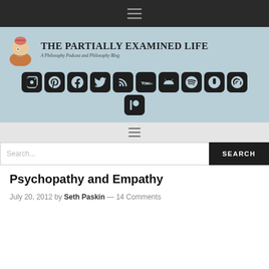☰ (hamburger menu)
[Figure (logo): The Partially Examined Life logo — cartoon man thinking with brain exposed, site title and subtitle: THE PARTIALLY EXAMINED LIFE / A Philosophy Podcast and Philosophy Blog, with social media icons: Instagram, Podcasts, Facebook, Twitter, RSS, YouTube, Android, Spotify, Google Podcasts, Audible, Patreon]
☰ (hamburger menu, secondary nav)
Search...
Psychopathy and Empathy
July 20, 2012 by Seth Paskin — 14 Comments